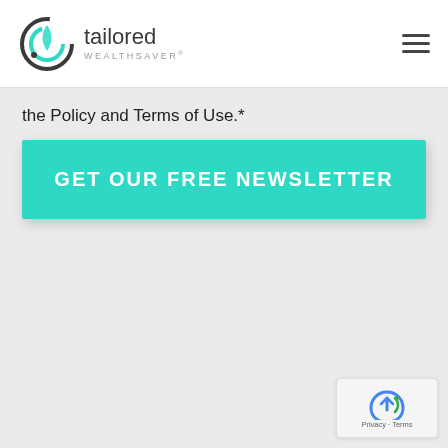[Figure (logo): Tailored WealthSaver logo with circular icon and text]
the Policy and Terms of Use.*
GET OUR FREE NEWSLETTER
[Figure (other): reCAPTCHA widget with Privacy · Terms text]